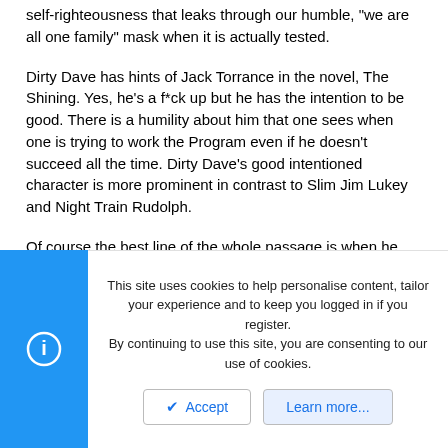self-righteousness that leaks through our humble, "we are all one family" mask when it is actually tested.
Dirty Dave has hints of Jack Torrance in the novel, The Shining. Yes, he's a f*ck up but he has the intention to be good. There is a humility about him that one sees when one is trying to work the Program even if he doesn't succeed all the time. Dirty Dave's good intentioned character is more prominent in contrast to Slim Jim Lukey and Night Train Rudolph.
Of course the best line of the whole passage is when he didn't pursue painting: The day got late while I was doin other things.
I've seen Mr. King draw these contrasts in The Bad Little Kid--the good intentioned character reaching out to a societal undesirable. He is masterful at it. I think this is what is going to keep Mr. King on the
This site uses cookies to help personalise content, tailor your experience and to keep you logged in if you register.
By continuing to use this site, you are consenting to our use of cookies.
Accept
Learn more...